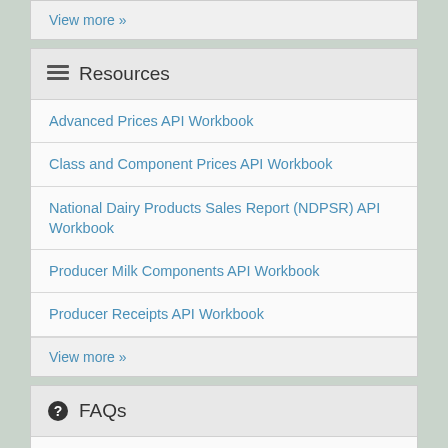View more »
Resources
Advanced Prices API Workbook
Class and Component Prices API Workbook
National Dairy Products Sales Report (NDPSR) API Workbook
Producer Milk Components API Workbook
Producer Receipts API Workbook
View more »
FAQs
There is no content here.
View more »